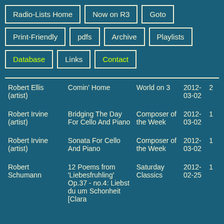Radio-Lists Home
Now on R3
Goto
Print-Friendly
pdfs
Archive
Playlists
Database
Links
Contact
| Artist | Title | Show | Date |  |
| --- | --- | --- | --- | --- |
| Robert Ellis (artist) | Comin' Home | World on 3 | 2012-03-02 | 2 |
| Robert Irvine (artist) | Bridging The Day For Cello And Piano | Composer of the Week | 2012-03-02 | 1 |
| Robert Irvine (artist) | Sonata For Cello And Piano | Composer of the Week | 2012-03-02 | 1 |
| Robert Schumann | 12 Poems from 'Liebesfruhling' Op.37 - no.4: Liebst du um Schonheit [Clara | Saturday Classics | 2012-02-25 | 1 |